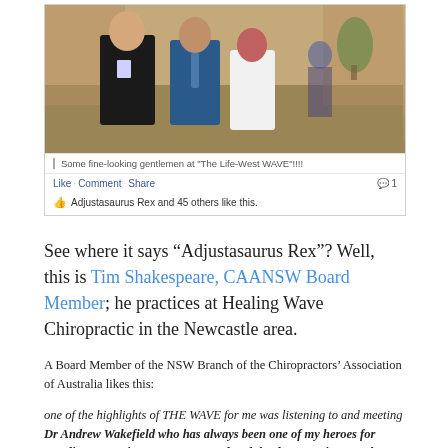[Figure (screenshot): Facebook post screenshot showing a group photo of three people at 'The Life-West WAVE' event. Caption reads 'Some fine-looking gentlemen at "The Life-West WAVE"!!!!' with Like, Comment, Share actions and 'Adjustasaurus Rex and 45 others like this.']
See where it says “Adjustasaurus Rex”? Well, this is Tim Shakespeare, CAANSW Board Member; he practices at Healing Wave Chiropractic in the Newcastle area.
A Board Member of the NSW Branch of the Chiropractors’ Association of Australia likes this:
one of the highlights of THE WAVE for me was listening to and meeting Dr Andrew Wakefield who has always been one of my heroes for standing up against corporate greed and the dope/vaccine cartel